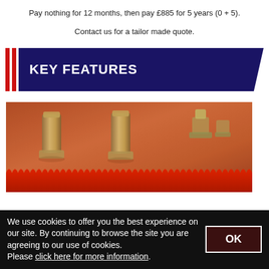Pay nothing for 12 months, then pay £885 for 5 years (0 + 5).
Contact us for a tailor made quote.
KEY FEATURES
[Figure (photo): Close-up photo of industrial machinery showing metal bolts/rollers and a red scalloped/toothed belt or conveyor bar at the bottom]
We use cookies to offer you the best experience on our site. By continuing to browse the site you are agreeing to our use of cookies.
Please click here for more information.